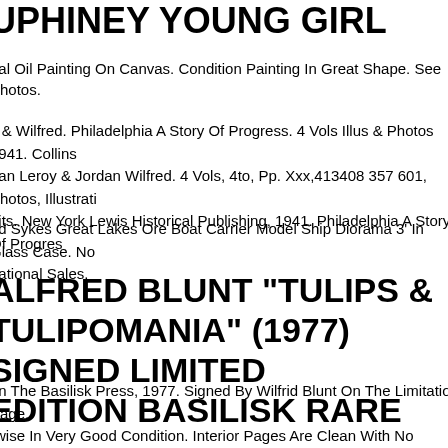UPHINEY YOUNG GIRL
nal Oil Painting On Canvas. Condition Painting In Great Shape. See Photos.
s & Wilfred. Philadelphia A Story Of Progress. 4 Vols Illus & Photos 1941. Collins, nan Leroy & Jordan Wilfred. 4 Vols, 4to, Pp. Xxx,413408 357 601, Photos, Illustrati aits. New York Lewis Historical Publishing, 1941. Philadelphia A Story Of Progres
ed Sykes Great Lakes Ore Boat Carrier Model Ship Diorama 3' In Glass Case. No national Sales.
ALFRED BLUNT "TULIPS & TULIPOMANIA" (1977) SIGNED LIMITED EDITION BASILISK RARE
on The Basilisk Press, 1977. Signed By Wilfrid Blunt On The Limitation Page. rwise In Very Good Condition. Interior Pages Are Clean With No Writing Or Simila s. Binding Sound.
ed Mccormick / Fielder's Choice A Bronc Burnett Story #3 1st Edition 1949. Fielde ee. A Bronc Burnett Story #3. Title Fielder's Choice. Author Mccormick, Wilfred. ication New York G. P. Putnam's Sons, (1949). 7-34" X 5-14". Grey Cloth Binding W